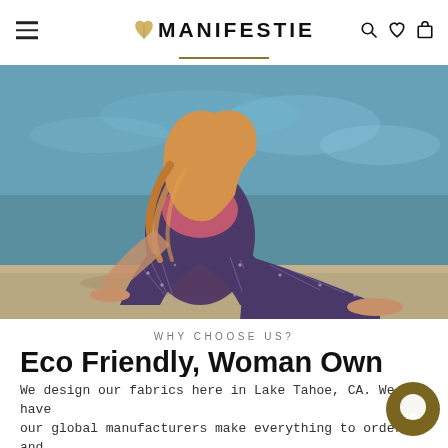MANIFESTIE
[Figure (photo): Woman wearing purple/navy geometric print leggings sitting on rocks near water in yoga pose, photographed from behind, blonde hair, barefoot.]
WHY CHOOSE US?
Eco Friendly, Woman Own
We design our fabrics here in Lake Tahoe, CA. We have our global manufacturers make everything to order and